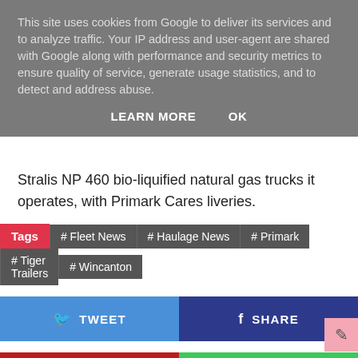This site uses cookies from Google to deliver its services and to analyze traffic. Your IP address and user-agent are shared with Google along with performance and security metrics to ensure quality of service, generate usage statistics, and to detect and address abuse.
LEARN MORE   OK
Stralis NP 460 bio-liquified natural gas trucks it operates, with Primark Cares liveries.
Tags  # Fleet News  # Haulage News  # Primark  # Tiger Trailers  # Wincanton
[Figure (other): Social share buttons: TWEET (blue), SHARE (dark blue), PIN IT (red), WHATSAPP (green)]
Newer Article
Class 1, European, Tramper, HGV Driver Job - Broughton...